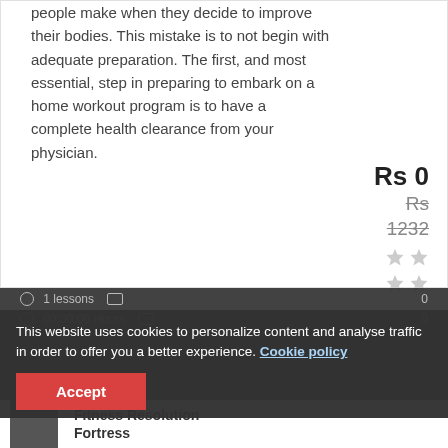people make when they decide to improve their bodies. This mistake is to not begin with adequate preparation. The first, and most essential, step in preparing to embark on a home workout program is to have a complete health clearance from your physician.
Rs 0
Rs 1232
1 lessons
00:00:00 Hours
This website uses cookies to personalize content and analyse traffic in order to offer you a better experience. Cookie policy
Accept
Fitness Resolution Fortress